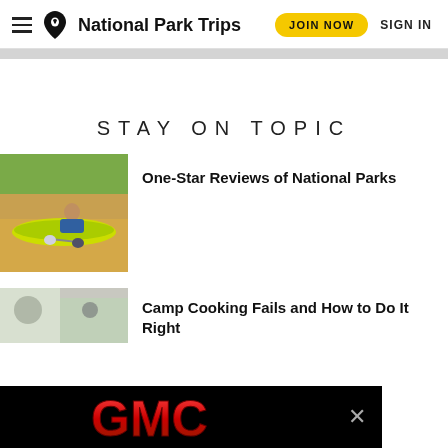National Park Trips — JOIN NOW  SIGN IN
STAY ON TOPIC
[Figure (photo): Person with yellow kayak on sandy riverbank with green reeds in background]
One-Star Reviews of National Parks
[Figure (photo): Camp cooking scene, partially visible]
Camp Cooking Fails and How to Do It Right
[Figure (logo): GMC logo in red on black advertisement banner]